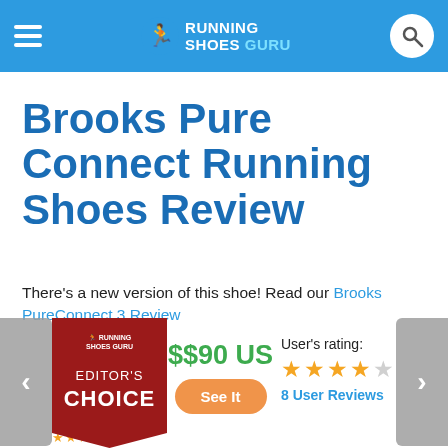Running Shoes Guru
Brooks Pure Connect Running Shoes Review
There's a new version of this shoe! Read our Brooks PureConnect 3 Review
[Figure (infographic): Editor's Choice badge with small Running Shoes Guru logo, red ribbon bookmark shape]
$$90 US
See It
User's rating: ★★★★☆ 8 User Reviews